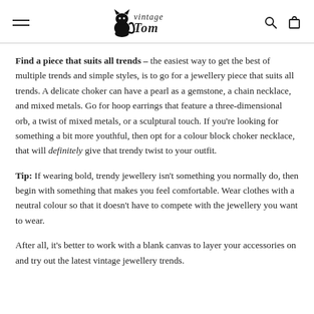Vintage Tom
Find a piece that suits all trends – the easiest way to get the best of multiple trends and simple styles, is to go for a jewellery piece that suits all trends. A delicate choker can have a pearl as a gemstone, a chain necklace, and mixed metals. Go for hoop earrings that feature a three-dimensional orb, a twist of mixed metals, or a sculptural touch. If you're looking for something a bit more youthful, then opt for a colour block choker necklace, that will definitely give that trendy twist to your outfit.
Tip: If wearing bold, trendy jewellery isn't something you normally do, then begin with something that makes you feel comfortable. Wear clothes with a neutral colour so that it doesn't have to compete with the jewellery you want to wear.
After all, it's better to work with a blank canvas to layer your accessories on and try out the latest vintage jewellery trends.